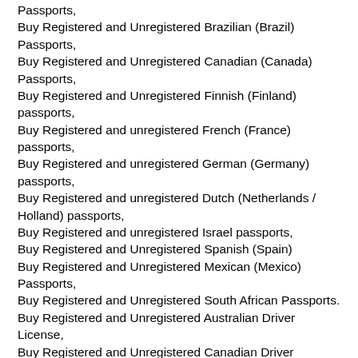Passports,
Buy Registered and Unregistered Brazilian (Brazil) Passports,
Buy Registered and Unregistered Canadian (Canada) Passports,
Buy Registered and Unregistered Finnish (Finland) passports,
Buy Registered and unregistered French (France) passports,
Buy Registered and unregistered German (Germany) passports,
Buy Registered and unregistered Dutch (Netherlands / Holland) passports,
Buy Registered and unregistered Israel passports,
Buy Registered and Unregistered Spanish (Spain)
Buy Registered and Unregistered Mexican (Mexico) Passports,
Buy Registered and Unregistered South African Passports.
Buy Registered and Unregistered Australian Driver License,
Buy Registered and Unregistered Canadian Driver License,
Buy Registered and Unregistered French (France) Driver License,